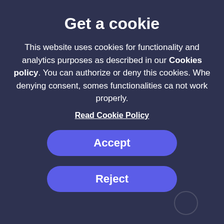Get a cookie
This website uses cookies for functionality and analytics purposes as described in our Cookies policy. You can authorize or deny this cookies. When denying consent, somes functionalities can not work properly.
Read Cookie Policy
[Figure (screenshot): Accept button - blue rounded rectangle with white bold text 'Accept']
[Figure (screenshot): Reject button - blue rounded rectangle with white bold text 'Reject']